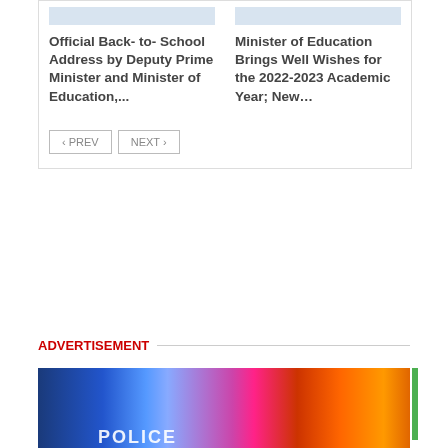[Figure (photo): Gray placeholder image for back-to-school article]
Official Back- to- School Address by Deputy Prime Minister and Minister of Education,...
[Figure (photo): Gray placeholder image for Minister of Education article]
Minister of Education Brings Well Wishes for the 2022-2023 Academic Year; New...
< PREV   NEXT >
ADVERTISEMENT
[Figure (photo): Police car with blue and red emergency lights, text POLICE visible]